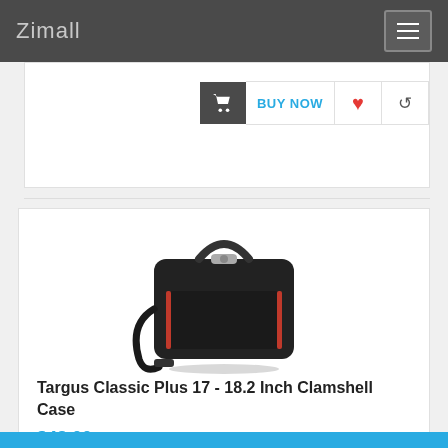Zimall
[Figure (screenshot): Partial product card from previous listing showing BUY NOW button bar at top]
[Figure (photo): Targus Classic Plus laptop bag - black with red accents and shoulder strap]
Targus Classic Plus 17 - 18.2 Inch Clamshell Case
$48.00
0 Reviews
BUY NOW